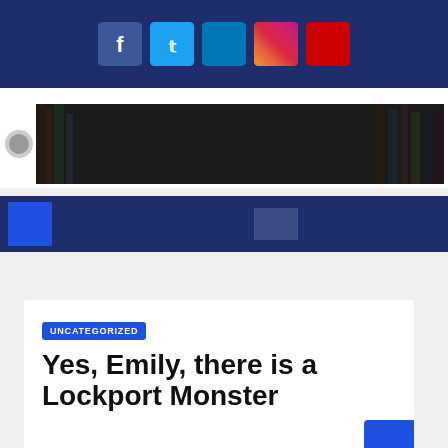[Figure (infographic): Dark navy top bar with five social media icons: Facebook (blue), Twitter (light blue), another social (teal), Instagram (gradient), YouTube/Pinterest (red)]
[Figure (infographic): Stop Book and Listen website banner: dark background with a stop sign labeled BOOK, headphones, site name 'Stop Book & Listen' and subtitle 'Free audio books, updated regularly']
[Figure (infographic): Dark navy navigation bar with a blue square icon on the left and a search box element]
UNCATEGORIZED
Yes, Emily, there is a Lockport Monster